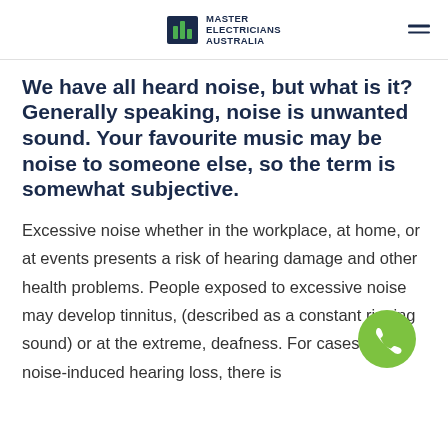MASTER ELECTRICIANS AUSTRALIA
We have all heard noise, but what is it? Generally speaking, noise is unwanted sound. Your favourite music may be noise to someone else, so the term is somewhat subjective.
Excessive noise whether in the workplace, at home, or at events presents a risk of hearing damage and other health problems. People exposed to excessive noise may develop tinnitus, (described as a constant ringing sound) or at the extreme, deafness. For cases of noise-induced hearing loss, there is